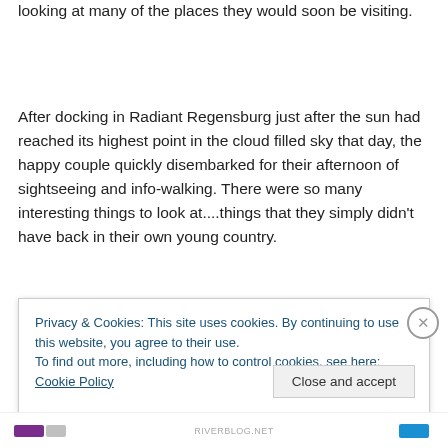looking at many of the places they would soon be visiting.
After docking in Radiant Regensburg just after the sun had reached its highest point in the cloud filled sky that day, the happy couple quickly disembarked for their afternoon of sightseeing and info-walking. There were so many interesting things to look at....things that they simply didn't have back in their own young country.
Privacy & Cookies: This site uses cookies. By continuing to use this website, you agree to their use.
To find out more, including how to control cookies, see here: Cookie Policy
Close and accept